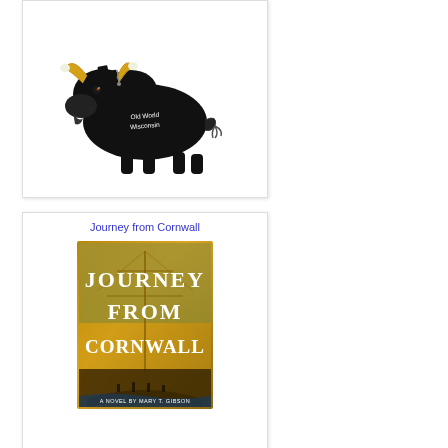[Figure (photo): Black plush bison/buffalo stuffed animal toy with yellow horns and 'Old World Wisconsin' text embroidered on it, shown in a white-background product card with a light border and shadow.]
Journey from Cornwall
[Figure (photo): Book cover for 'Journey from Cornwall - A Novel by Mary T. Gibson', featuring large white serif text on a golden/sepia background with an old sailing ship scene at the bottom.]